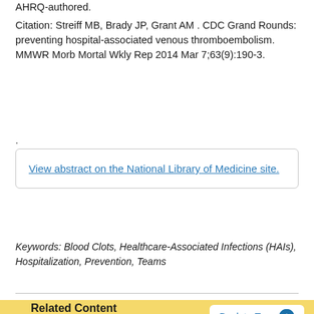AHRQ-authored.
Citation: Streiff MB, Brady JP, Grant AM . CDC Grand Rounds: preventing hospital-associated venous thromboembolism. MMWR Morb Mortal Wkly Rep 2014 Mar 7;63(9):190-3.
.
View abstract on the National Library of Medicine site.
Keywords: Blood Clots, Healthcare-Associated Infections (HAIs), Hospitalization, Prevention, Teams
Related Content
Research Findings & Reports